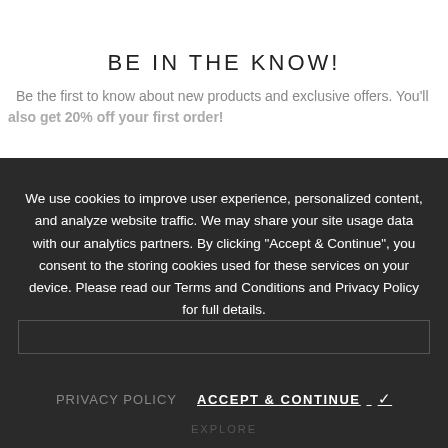BE IN THE KNOW!
Be the first to know about new products and exclusive offers. You'll also get 20% off your first order!
We use cookies to improve user experience, personalized content, and analyze website traffic. We may share your site usage data with our analytics partners. By clicking “Accept & Continue”, you consent to the storing cookies used for these services on your device. Please read our Terms and Conditions and Privacy Policy for full details.
PRIVACY POLICY   ACCEPT & CONTINUE ✓